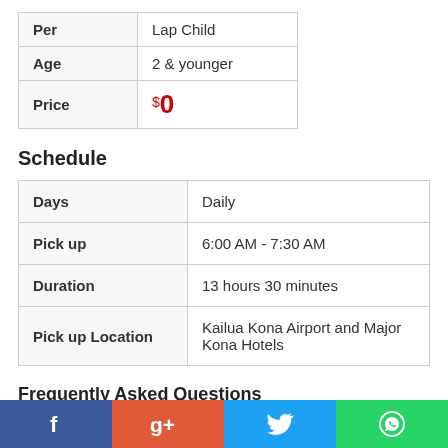| Per | Lap Child |
| --- | --- |
| Age | 2 & younger |
| Price | $0 |
Schedule
| Days | Daily |
| Pick up | 6:00 AM - 7:30 AM |
| Duration | 13 hours 30 minutes |
| Pick up Location | Kailua Kona Airport and Major Kona Hotels |
Frequently Asked Questions
I just want to know if it is available, how can I find out?